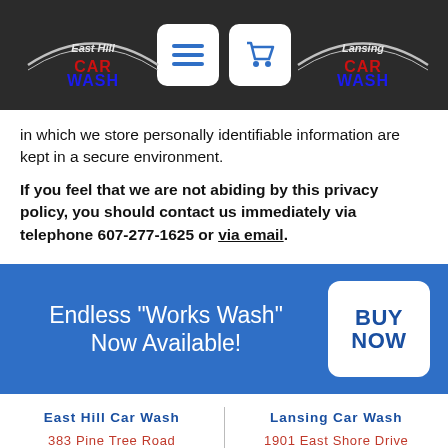East Hill Car Wash | Lansing Car Wash — navigation header with logo and menu/cart buttons
in which we store personally identifiable information are kept in a secure environment.
If you feel that we are not abiding by this privacy policy, you should contact us immediately via telephone 607-277-1625 or via email.
[Figure (infographic): Blue promotional banner: Endless "Works Wash" Now Available! with BUY NOW button]
East Hill Car Wash
383 Pine Tree Road
Ithaca, NY 14850
Phone: 607-277-1625
Lansing Car Wash
1901 East Shore Drive
Lansing, NY 14882
Phone: 607-277-1625
Privacy Policy   Terms & Conditions